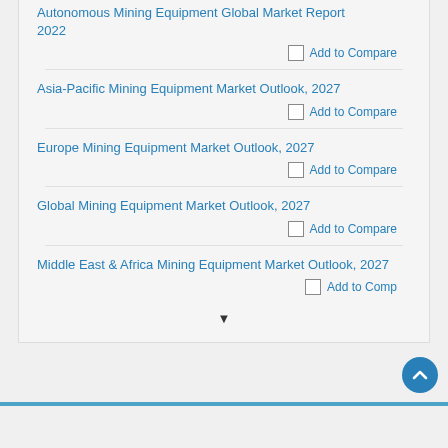Autonomous Mining Equipment Global Market Report 2022
Asia-Pacific Mining Equipment Market Outlook, 2027
Europe Mining Equipment Market Outlook, 2027
Global Mining Equipment Market Outlook, 2027
Middle East & Africa Mining Equipment Market Outlook, 2027